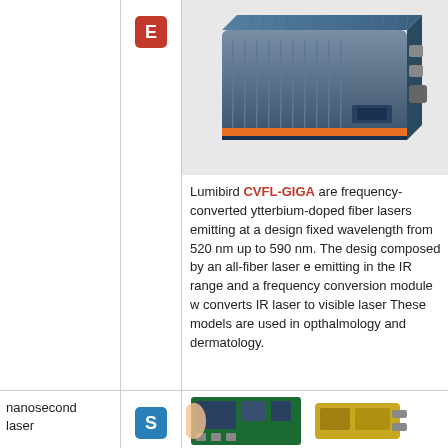[Figure (photo): Photo of a Lumibird CVFL-GIGA laser device, a compact blue rectangular housing with connectors]
Lumibird CVFL-GIGA are frequency-converted ytterbium-doped fiber lasers emitting at a design fixed wavelength from 520 nm up to 590 nm. The design composed by an all-fiber laser emitting in the IR range and a frequency conversion module w converts IR laser to visible laser. These models are used in opthalmology and dermatology.
nanosecond laser
[Figure (photo): Photos of nanosecond laser components/circuit boards]